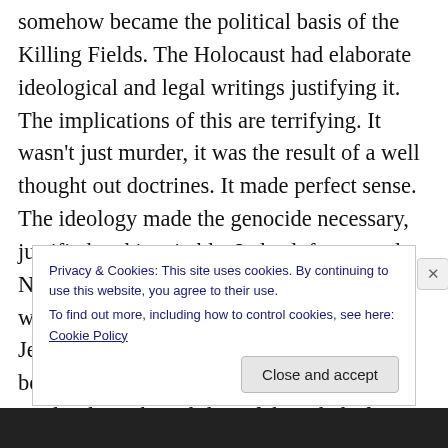somehow became the political basis of the Killing Fields. The Holocaust had elaborate ideological and legal writings justifying it. The implications of this are terrifying. It wasn't just murder, it was the result of a well thought out doctrines. It made perfect sense. The ideology made the genocide necessary, justified and inevitable. Indeed, for a good Nazi or member of the Khmer Rouge, it would be morally wrong not to exterminate Jews or enemies of the Revolution. Their belief system required it, and they believed implicitly in the validity of those belief systems. The fanaticism of
Privacy & Cookies: This site uses cookies. By continuing to use this website, you agree to their use.
To find out more, including how to control cookies, see here: Cookie Policy